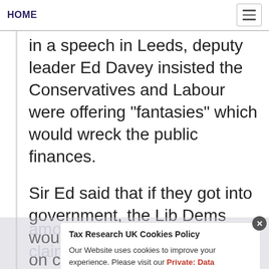HOME
in a speech in Leeds, deputy leader Ed Davey insisted the Conservatives and Labour were offering "fantasies" which would wreck the public finances.
Sir Ed said that if they got into government, the Lib Dems would run a 1 per cent surplus on current spending - meaning that day-to-day costs of public services would be lower than the amount raised in taxes. He claimed a "Remain bonus" would help shore up state finances. Borrowing would only be allowed to
Tax Research UK Cookies Policy
Our Website uses cookies to improve your experience. Please visit our Private: Data Protection & Cookie Policy page for more information about cookies and how we use them.